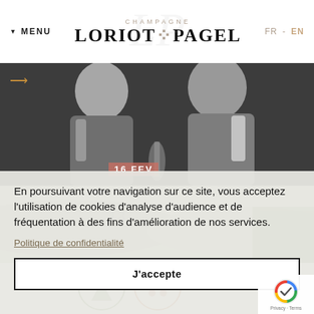MENU | CHAMPAGNE LORIOT-PAGEL | FR - EN
[Figure (photo): Black and white photo of two people (a man and a woman) in dark clothing, likely winemakers or owners of Champagne Loriot-Pagel]
En poursuivant votre navigation sur ce site, vous acceptez l'utilisation de cookies d'analyse d'audience et de fréquentation à des fins d'amélioration de nos services.
Politique de confidentialité
J'accepte
[Figure (logo): reCAPTCHA badge with Privacy and Terms links]
[Figure (photo): Partial landscape/vineyard image and sustainability logos visible in background]